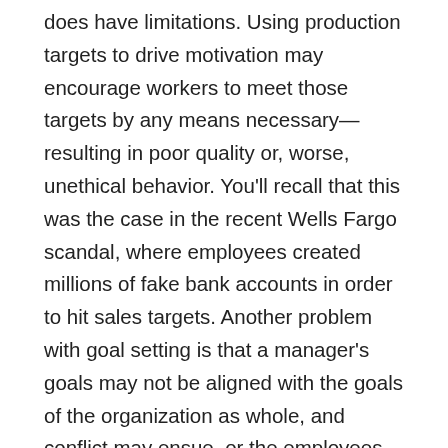does have limitations. Using production targets to drive motivation may encourage workers to meet those targets by any means necessary—resulting in poor quality or, worse, unethical behavior. You'll recall that this was the case in the recent Wells Fargo scandal, where employees created millions of fake bank accounts in order to hit sales targets. Another problem with goal setting is that a manager's goals may not be aligned with the goals of the organization as whole, and conflict may ensue, or the employees may feel uncertain about which goals ought to be prioritized (first the manager's, then the organization's? Or vice versa?). Either way, performance can suffer. In addition, for complex or creative tasks, it is possible for goal setting to actually hamper achievement, because the individual can become too preoccupied with meeting goals and distracted from completing tasks. This is especially true